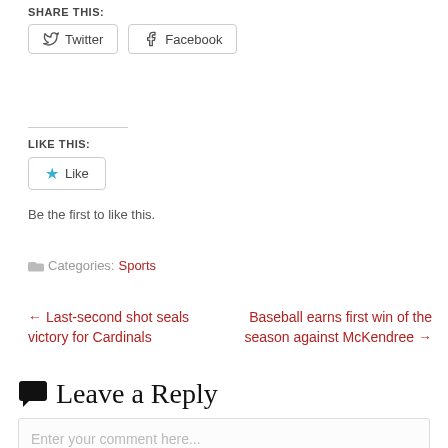SHARE THIS:
Twitter   Facebook
LIKE THIS:
Like
Be the first to like this.
Categories: Sports
← Last-second shot seals victory for Cardinals
Baseball earns first win of the season against McKendree →
Leave a Reply
Enter your comment here...